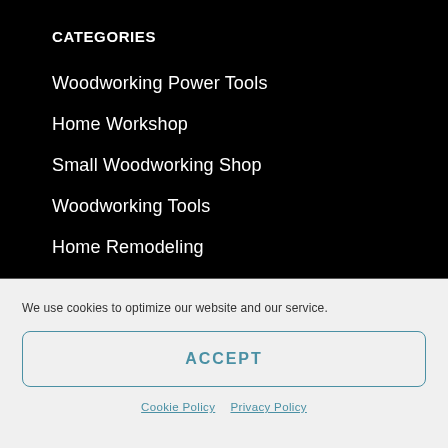CATEGORIES
Woodworking Power Tools
Home Workshop
Small Woodworking Shop
Woodworking Tools
Home Remodeling
We use cookies to optimize our website and our service.
ACCEPT
Cookie Policy   Privacy Policy